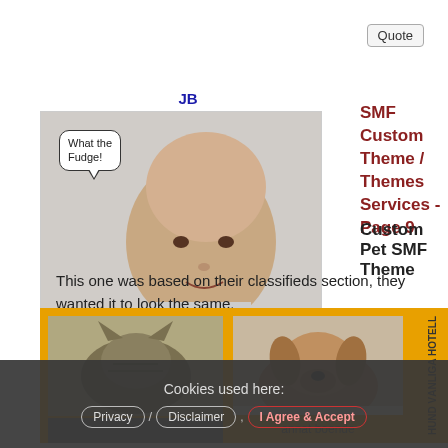Quote
[Figure (photo): User avatar for JB showing a bald man with a speech bubble saying 'What the Fudge!']
SMF Custom Theme / Themes Services - Page 9
Custom Pet SMF Theme
This one was based on their classifieds section, they wanted it to look the same.
[Figure (screenshot): Pet website screenshot showing images of a cat, a dog, a person, and Swedish text 'HUND VÄNLIGA HOTELL' and 'annat boende']
Cookies used here:
Privacy / Disclaimer , I Agree & Accept